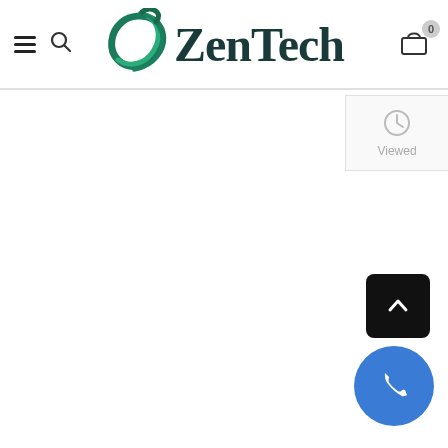[Figure (logo): ZenTech website header with logo: a teal/green swirl icon and 'ZenTech' text in dark serif font, with hamburger menu, search icon on left, and cart icon with badge '0' on right]
[Figure (screenshot): White content area with 'Recently Viewed' panel on right showing clock icon and 'Viewed' text, a black scroll-to-top button with chevron up, and a blue circular phone/call button at bottom right]